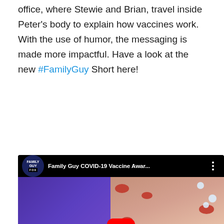office, where Stewie and Brian, travel inside Peter's body to explain how vaccines work. With the use of humor, the messaging is made more impactful. Have a look at the new #FamilyGuy Short here!
[Figure (screenshot): YouTube video thumbnail for 'Family Guy COVID-19 Vaccine Awar...' showing animated characters Stewie and Brian inside a body with blood cells, overlaid with a red play button. An orange banner advertisement for Direct Relief (Help send medical aid to Ukraine) appears at the bottom.]